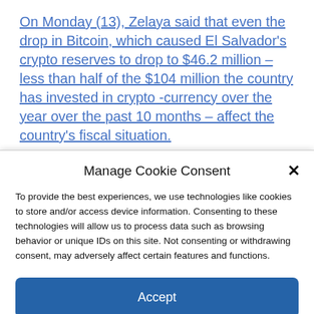On Monday (13), Zelaya said that even the drop in Bitcoin, which caused El Salvador's crypto reserves to drop to $46.2 million – less than half of the $104 million the country has invested in crypto -currency over the year over the past 10 months – affect the country's fiscal situation.
Manage Cookie Consent
To provide the best experiences, we use technologies like cookies to store and/or access device information. Consenting to these technologies will allow us to process data such as browsing behavior or unique IDs on this site. Not consenting or withdrawing consent, may adversely affect certain features and functions.
Accept